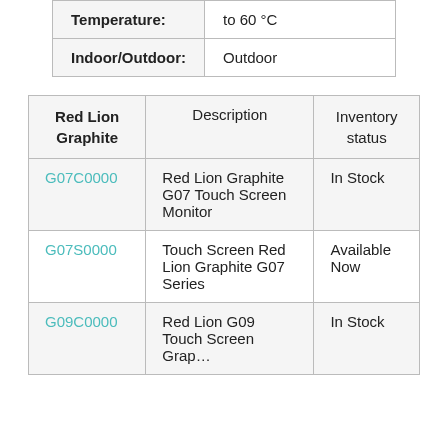| Temperature: | to 60 °C |
| --- | --- |
| Indoor/Outdoor: | Outdoor |
| Red Lion Graphite | Description | Inventory status |
| --- | --- | --- |
| G07C0000 | Red Lion Graphite G07 Touch Screen Monitor | In Stock |
| G07S0000 | Touch Screen Red Lion Graphite G07 Series | Available Now |
| G09C0000 | Red Lion G09 Touch Screen … | In Stock |